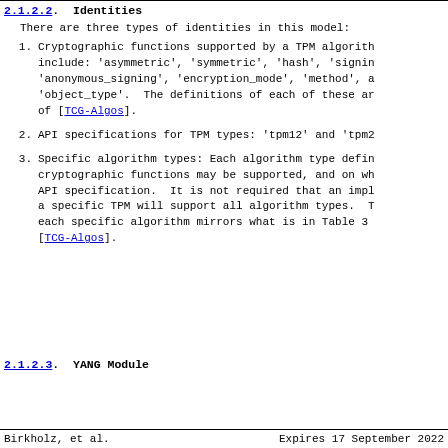2.1.2.2.  Identities
There are three types of identities in this model:
Cryptographic functions supported by a TPM algorithm include: 'asymmetric', 'symmetric', 'hash', 'signing', 'anonymous_signing', 'encryption_mode', 'method', and 'object_type'.  The definitions of each of these are of [TCG-Algos].
API specifications for TPM types: 'tpm12' and 'tpm2'.
Specific algorithm types: Each algorithm type defines which cryptographic functions may be supported, and on which API specification.  It is not required that an implementation of a specific TPM will support all algorithm types.  The structure of each specific algorithm mirrors what is in Table 3 of [TCG-Algos].
2.1.2.3.  YANG Module
Birkholz, et al.        Expires 17 September 2022